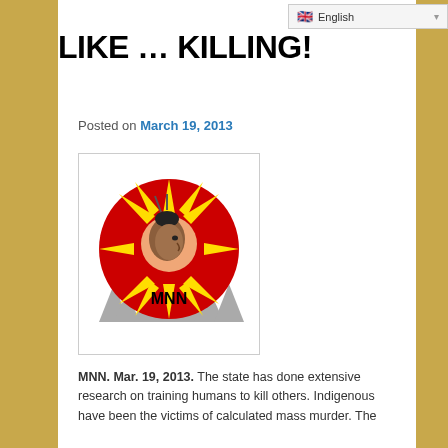English
LIKE … KILLING!
Posted on March 19, 2013
[Figure (logo): MNN logo: red circle with Native American profile and sun rays, trees silhouette at bottom, text MNN below]
MNN. Mar. 19, 2013. The state has done extensive research on training humans to kill others. Indigenous have been the victims of calculated mass murder. The